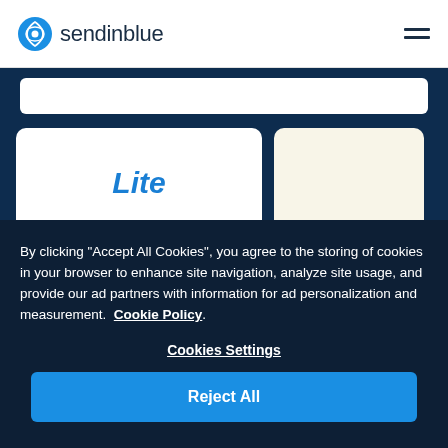sendinblue
Lite
By clicking “Accept All Cookies”, you agree to the storing of cookies in your browser to enhance site navigation, analyze site usage, and provide our ad partners with information for ad personalization and measurement. Cookie Policy
Cookies Settings
Reject All